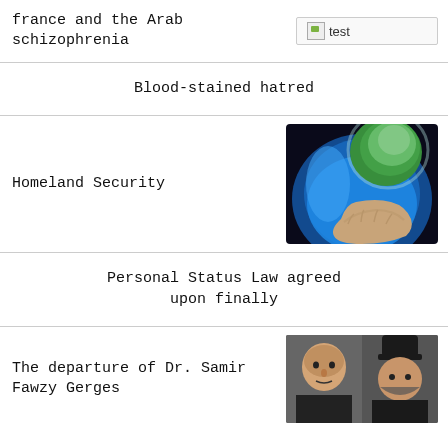france and the Arab schizophrenia
[Figure (other): Broken image placeholder labeled 'test']
Blood-stained hatred
Homeland Security
[Figure (photo): Hands holding a green glowing Earth globe against dark background]
Personal Status Law agreed upon finally
The departure of Dr. Samir Fawzy Gerges
[Figure (photo): Two men in religious attire, partial crop]